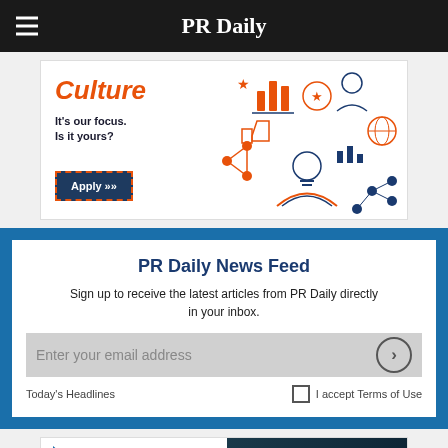PR Daily
[Figure (illustration): Advertisement banner with 'Culture' text in orange italic, tagline 'It's our focus. Is it yours?', Apply button, and business/technology icon illustrations in orange and dark blue]
PR Daily News Feed
Sign up to receive the latest articles from PR Daily directly in your inbox.
Enter your email address
Today's Headlines    I accept Terms of Use
[Figure (illustration): Partial view of PR Daily's advertisement with blue triangle logo and 'PR Daily's TOP' text partially visible, dark teal background on right]